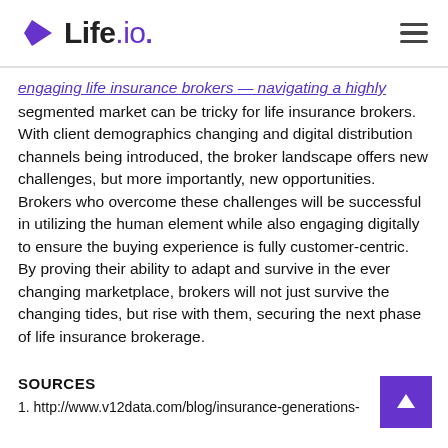Life.io
segmented market can be tricky for life insurance brokers. With client demographics changing and digital distribution channels being introduced, the broker landscape offers new challenges, but more importantly, new opportunities. Brokers who overcome these challenges will be successful in utilizing the human element while also engaging digitally to ensure the buying experience is fully customer-centric. By proving their ability to adapt and survive in the ever changing marketplace, brokers will not just survive the changing tides, but rise with them, securing the next phase of life insurance brokerage.
SOURCES
1. http://www.v12data.com/blog/insurance-generations-